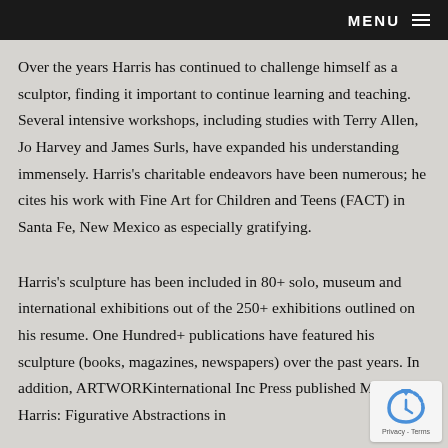MENU
Over the years Harris has continued to challenge himself as a sculptor, finding it important to continue learning and teaching. Several intensive workshops, including studies with Terry Allen, Jo Harvey and James Surls, have expanded his understanding immensely. Harris’s charitable endeavors have been numerous; he cites his work with Fine Art for Children and Teens (FACT) in Santa Fe, New Mexico as especially gratifying.
Harris’s sculpture has been included in 80+ solo, museum and international exhibitions out of the 250+ exhibitions outlined on his resume. One Hundred+ publications have featured his sculpture (books, magazines, newspapers) over the past years. In addition, ARTWORKinternational Inc.’s Press published Mark Yale Harris: Figurative Abstractions in